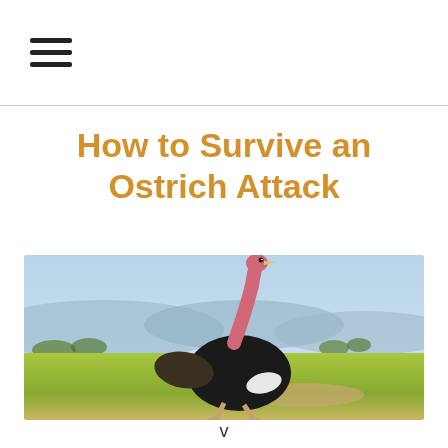☰
How to Survive an Ostrich Attack
[Figure (photo): A male ostrich with black feathers and a long pink neck running across a green grassy savanna landscape with hills and hazy sky in the background.]
v